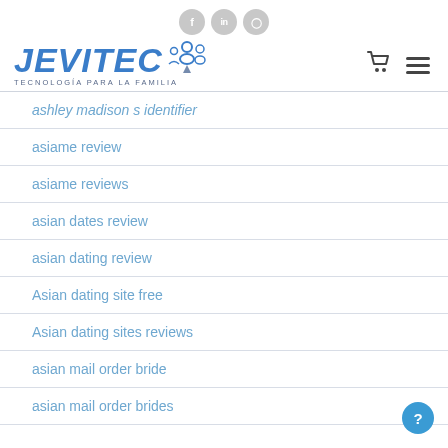Social icons: f, in, instagram
[Figure (logo): JEVITEC logo with tagline TECNOLOGÍA PARA LA FAMILIA and cart/menu icons]
ashley madison s identifier
asiame review
asiame reviews
asian dates review
asian dating review
Asian dating site free
Asian dating sites reviews
asian mail order bride
asian mail order brides